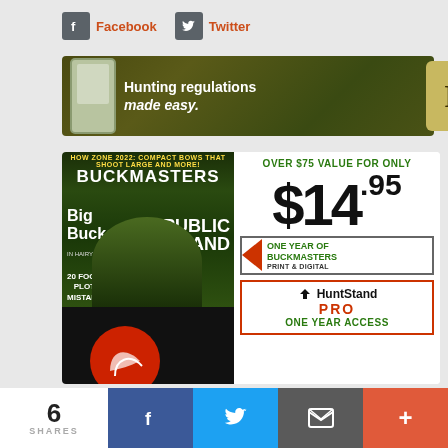Facebook
Twitter
[Figure (infographic): Hunting regulations made easy advertisement banner with phone mockup and R badge]
[Figure (infographic): Buckmasters magazine subscription ad: Over $75 value for only $14.95 - One year of Buckmasters Print & Digital plus HuntStand PRO One Year Access]
6 SHARES | Facebook share | Twitter share | Email share | More